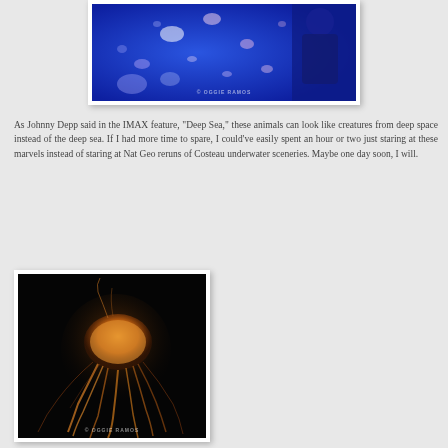[Figure (photo): Photo of jellyfish in a blue-lit aquarium tank, with a person visible on the right side. Watermark reads © OGGIE RAMOS.]
As Johnny Depp said in the IMAX feature, "Deep Sea," these animals can look like creatures from deep space instead of the deep sea. If I had more time to spare, I could've easily spent an hour or two just staring at these marvels instead of staring at Nat Geo reruns of Costeau underwater sceneries. Maybe one day soon, I will.
[Figure (photo): Close-up photo of an orange jellyfish with long tentacles against a black background. Watermark reads © OGGIE RAMOS.]